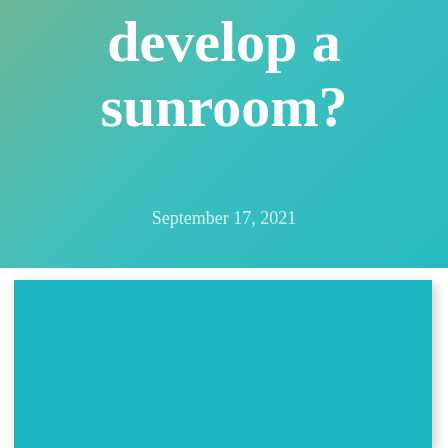develop a sunroom?
September 17, 2021
[Figure (illustration): Solid teal/cyan rectangle representing an image placeholder for a sunroom article]